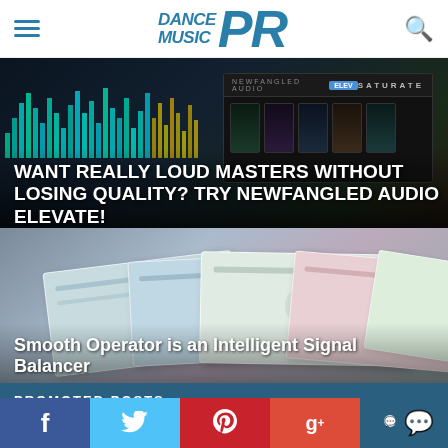Dance Music PR
[Figure (photo): Screenshot of Newfangled Audio Elevate plugin with EQ bars and Saturate panel on dark background]
WANT REALLY LOUD MASTERS WITHOUT LOSING QUALITY? TRY NEWFANGLED AUDIO ELEVATE!
[Figure (photo): Multiple stacked tablet/card interface panels in pastel colors (green, blue, pink) on grey background]
Smooth Operator is an Intelligent Signal Balancer
PROMOTED POSTS
[Figure (photo): Dark thumbnail image of a person in blue clothing]
HOZHO SPAWNS NOVEL MELODARK GROOVES WITH NEW SINGLE 'TROUBLES IN PARADISE'